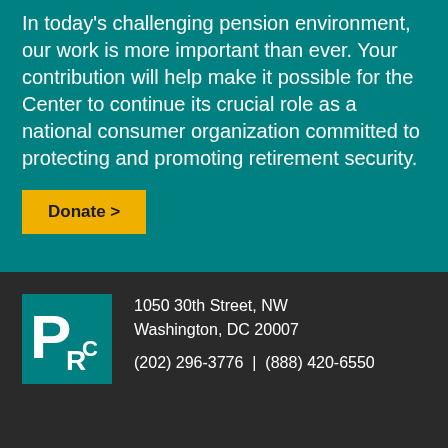In today's challenging pension environment, our work is more important than ever. Your contribution will help make it possible for the Center to continue its crucial role as a national consumer organization committed to protecting and promoting retirement security.
Donate >
[Figure (logo): PRC logo — white letters P, R, C on teal square background]
1050 30th Street, NW
Washington, DC 20007
(202) 296-3776  |  (888) 420-6550